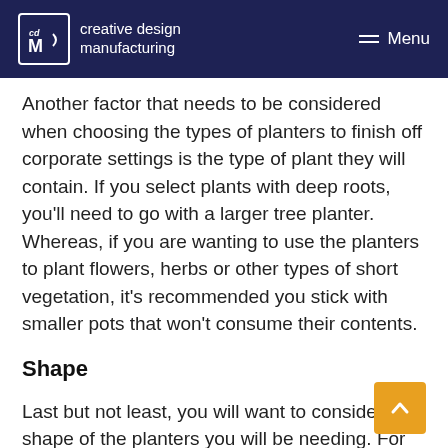creative design manufacturing | Menu
Another factor that needs to be considered when choosing the types of planters to finish off corporate settings is the type of plant they will contain. If you select plants with deep roots, you'll need to go with a larger tree planter. Whereas, if you are wanting to use the planters to plant flowers, herbs or other types of short vegetation, it's recommended you stick with smaller pots that won't consume their contents.
Shape
Last but not least, you will want to consider the shape of the planters you will be needing. For